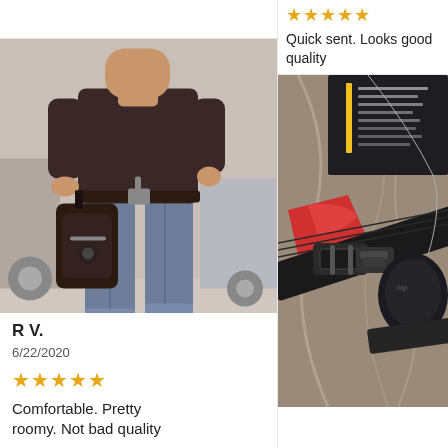[Figure (photo): Person wearing jeans and a dark t-shirt with a black leather hip/thigh bag and belt, standing near motorcycles outdoors]
R V.
6/22/2020
★★★★★
Comfortable. Pretty roomy. Not bad quality
★★★★★
Quick sent. Looks good quality
[Figure (photo): Close-up of a black leg bag/strap with buckle and clasp on a marble surface, with red fabric and dark material visible]